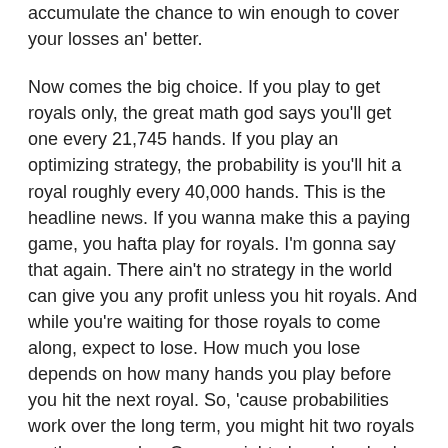accumulate the chance to win enough to cover your losses an' better.
Now comes the big choice. If you play to get royals only, the great math god says you'll get one every 21,745 hands. If you play an optimizing strategy, the probability is you'll hit a royal roughly every 40,000 hands. This is the headline news. If you wanna make this a paying game, you hafta play for royals. I'm gonna say that again. There ain't no strategy in the world can give you any profit unless you hit royals. And while you're waiting for those royals to come along, expect to lose. How much you lose depends on how many hands you play before you hit the next royal. So, 'cause probabilities work over the long term, you might hit two royals on the same day. Or you might play a hundred and more hours, and not hit one at all.